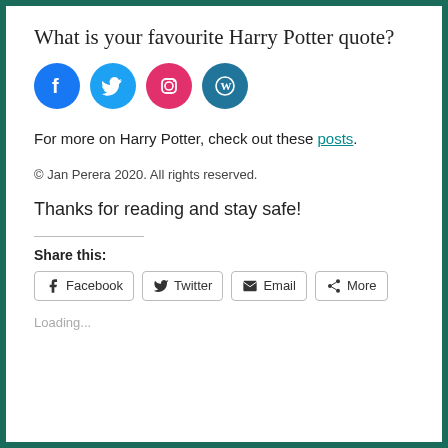What is your favourite Harry Potter quote?
[Figure (other): Four social media icons in circles: Facebook (blue), Twitter (cyan), Instagram (pink), WordPress (teal)]
For more on Harry Potter, check out these posts.
© Jan Perera 2020. All rights reserved.
Thanks for reading and stay safe!
Share this:
Facebook  Twitter  Email  More
Loading...